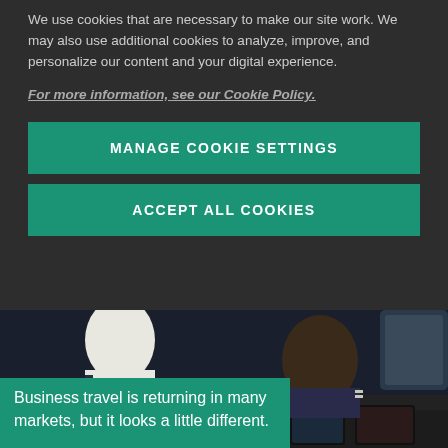We use cookies that are necessary to make our site work. We may also use additional cookies to analyze, improve, and personalize our content and your digital experience.
For more information, see our Cookie Policy.
MANAGE COOKIE SETTINGS
ACCEPT ALL COOKIES
[Figure (photo): Two airline pilots in the cockpit of an aircraft, viewed from behind/side, operating flight instruments and controls.]
Business travel is returning in many markets, but it looks a little different.